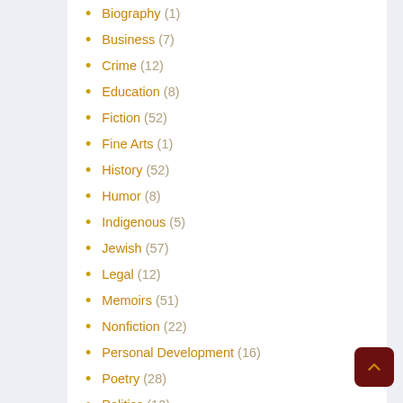Biography (1)
Business (7)
Crime (12)
Education (8)
Fiction (52)
Fine Arts (1)
History (52)
Humor (8)
Indigenous (5)
Jewish (57)
Legal (12)
Memoirs (51)
Nonfiction (22)
Personal Development (16)
Poetry (28)
Politics (12)
Primary School Children (2)
Psychology (3)
Quality Bargains (40)